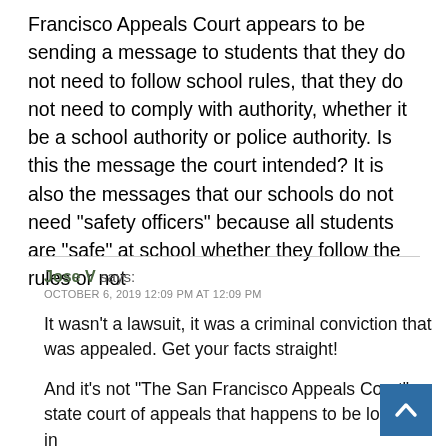Francisco Appeals Court appears to be sending a message to students that they do not need to follow school rules, that they do not need to comply with authority, whether it be a school authority or police authority. Is this the message the court intended? It is also the messages that our schools do not need “safety officers” because all students are “safe” at school whether they follow the rules or not
Jose V says: OCTOBER 6, 2019 12:09 PM AT 12:09 PM
It wasn’t a lawsuit, it was a criminal conviction that was appealed. Get your facts straight!
And it’s not “The San Francisco Appeals Court” a state court of appeals that happens to be located in